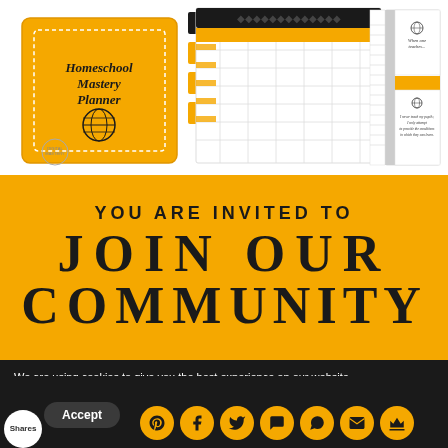[Figure (illustration): Homeschool Mastery Planner product preview showing multiple planner pages/covers in yellow, black and white with globe icon and grid layouts]
YOU ARE INVITED TO JOIN OUR COMMUNITY
We are using cookies to give you the best experience on our website.
You can find out more about which cookies we are using in settings.
Accept
Shares